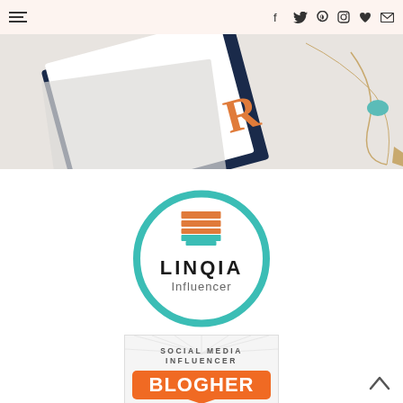Navigation bar with hamburger menu and social icons: Facebook, Twitter, Pinterest, Instagram, Heart, Mail
[Figure (photo): Lifestyle photo showing a notebook with orange 'R' lettermark and gold chain necklace with turquoise pendant on light background]
[Figure (logo): LINQIA Influencer badge - teal circle with orange/teal shopping cart icon, LINQIA text in black, 'Influencer' in gray]
[Figure (logo): BlogHer Social Media Influencer badge - white/gray radial background with 'SOCIAL MEDIA INFLUENCER' text and orange BLOGHER speech bubble logo]